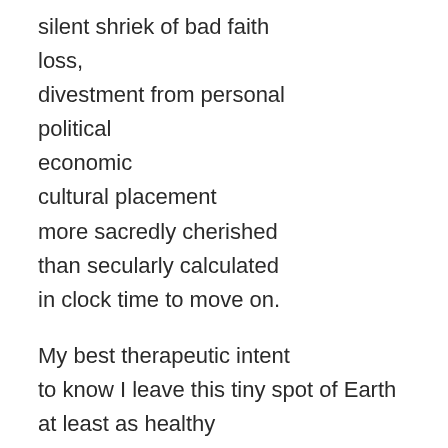silent shriek of bad faith
loss,
divestment from personal
political
economic
cultural placement
more sacredly cherished
than secularly calculated
in clock time to move on.

My best therapeutic intent
to know I leave this tiny spot of Earth
at least as healthy
and beautiful
as I have found her
while unpacking
in her abandoned